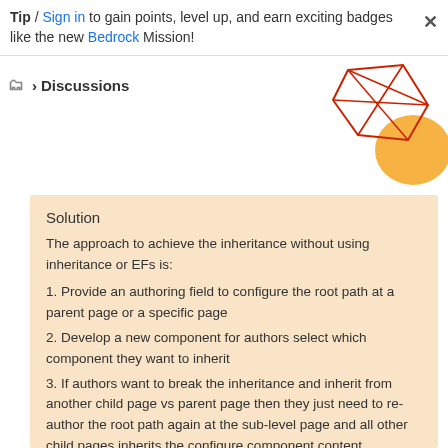Tip / Sign in to gain points, level up, and earn exciting badges like the new Bedrock Mission!
> Discussions
[Figure (illustration): Decorative geometric red line art with orange shape in top-right corner]
Solution
The approach to achieve the inheritance without using inheritance or EFs is:
1. Provide an authoring field to configure the root path at a parent page or a specific page
2. Develop a new component for authors select which component they want to inherit
3. If authors want to break the inheritance and inherit from another child page vs parent page then they just need to re-author the root path again at the sub-level page and all other child pages inherits the configure component content.
List of Code Changes: